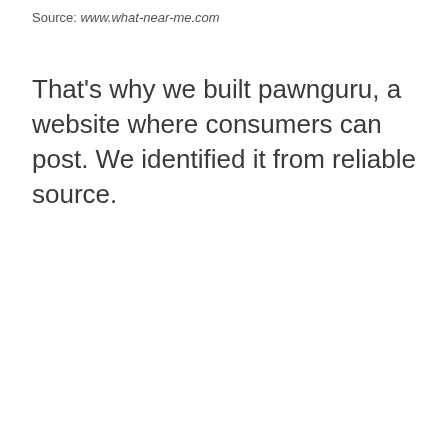Source: www.what-near-me.com
That's why we built pawnguru, a website where consumers can post. We identified it from reliable source.